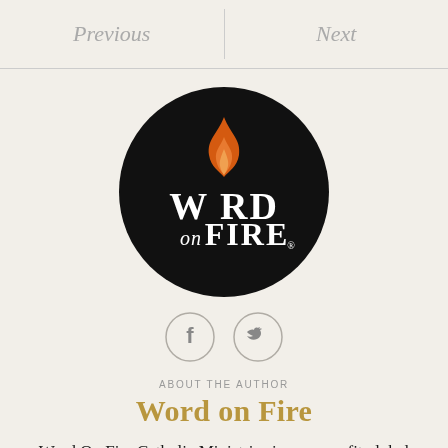Previous   Next
[Figure (logo): Word on Fire circular logo: black circle with orange flame replacing the O in WORD, white text reading 'WORD on FIRE' with registered trademark symbol]
[Figure (illustration): Two circular social media icon buttons: Facebook (f) and Twitter (bird icon), outlined circles on light background]
ABOUT THE AUTHOR
Word on Fire
Word On Fire Catholic Ministries is a nonprofit global